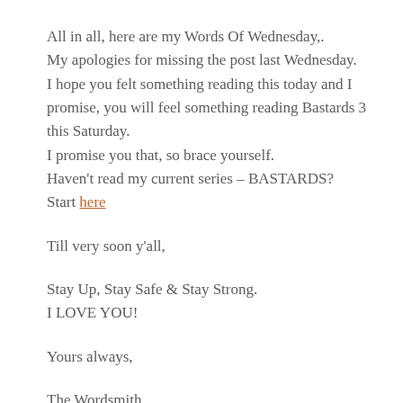All in all, here are my Words Of Wednesday,.
My apologies for missing the post last Wednesday.
I hope you felt something reading this today and I promise, you will feel something reading Bastards 3 this Saturday.
I promise you that, so brace yourself.
Haven't read my current series – BASTARDS?
Start here
Till very soon y'all,
Stay Up, Stay Safe & Stay Strong.
I LOVE YOU!
Yours always,
The Wordsmith